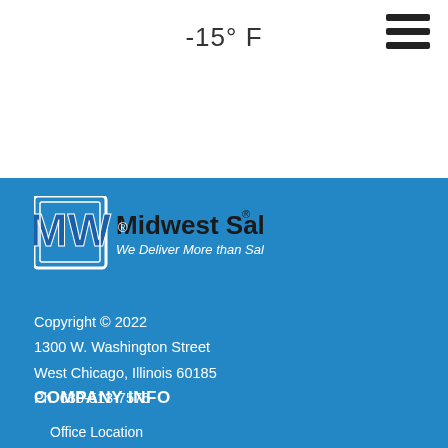-15° F
[Figure (logo): Midwest Salt logo with MW icon and tagline 'We Deliver More than Salt!']
Copyright © 2022
1300 W. Washington Street
West Chicago, Illinois 60185
Ph. 630-513-7575
COMPANY INFO
Office Location
Become A Reseller